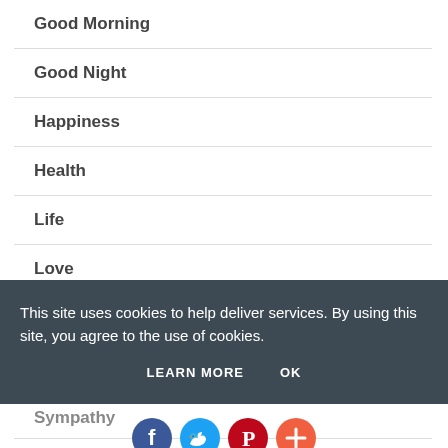Good Morning
Good Night
Happiness
Health
Life
Love
Memes
This site uses cookies to help deliver services. By using this site, you agree to the use of cookies.
LEARN MORE   OK
Sympathy